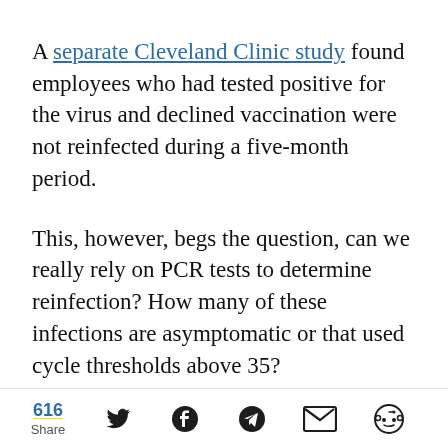A separate Cleveland Clinic study found employees who had tested positive for the virus and declined vaccination were not reinfected during a five-month period.
This, however, begs the question, can we really rely on PCR tests to determine reinfection? How many of these infections are asymptomatic or that used cycle thresholds above 35?
In a letter to the editor published in the
616 Share